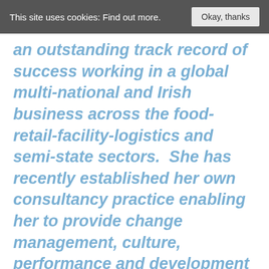This site uses cookies: Find out more.
an outstanding track record of success working in a global multi-national and Irish business across the food-retail-facility-logistics and semi-state sectors.  She has recently established her own consultancy practice enabling her to provide change management, culture, performance and development services to her Clients.